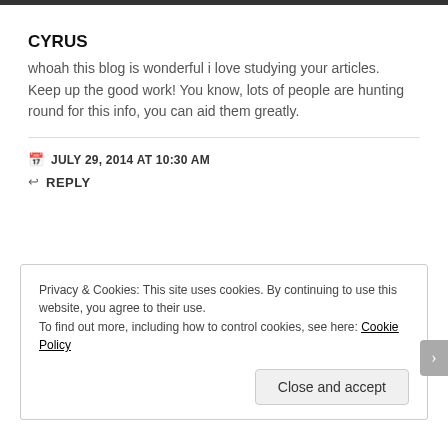CYRUS
whoah this blog is wonderful i love studying your articles.
Keep up the good work! You know, lots of people are hunting round for this info, you can aid them greatly.
JULY 29, 2014 AT 10:30 AM
REPLY
Privacy & Cookies: This site uses cookies. By continuing to use this website, you agree to their use.
To find out more, including how to control cookies, see here: Cookie Policy
Close and accept